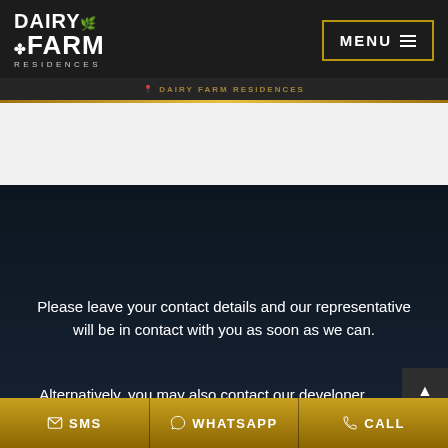[Figure (logo): Dairy Farm Residences logo in white text on dark background]
MENU
DAIRY FARM RESIDENCES
Please leave your contact details and our representative will be in contact with you as soon as we can.
Alternatively, you may also contact our developer sales team directly at:
SMS  WHATSAPP  CALL